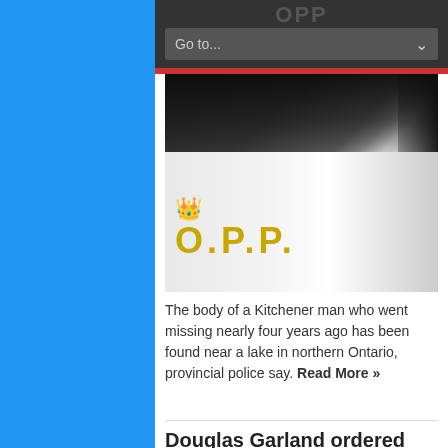Go to...
[Figure (photo): OPP (Ontario Provincial Police) police car door showing the OPP crown logo and lettering 'O.P.P.' in gold on a white door, photographed at night]
The body of a Kitchener man who went missing nearly four years ago has been found near a lake in northern Ontario, provincial police say. Read More »
Douglas Garland ordered